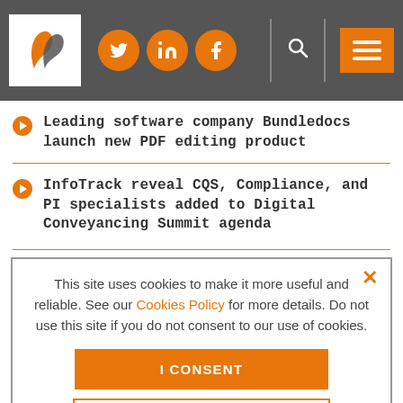[Figure (logo): Website header with logo (leaf/feather icon), social media icons (Twitter, LinkedIn, Facebook), search icon, and hamburger menu button on dark grey background]
Leading software company Bundledocs launch new PDF editing product
InfoTrack reveal CQS, Compliance, and PI specialists added to Digital Conveyancing Summit agenda
This site uses cookies to make it more useful and reliable. See our Cookies Policy for more details. Do not use this site if you do not consent to our use of cookies.
I CONSENT
SEE COOKIE POLICY